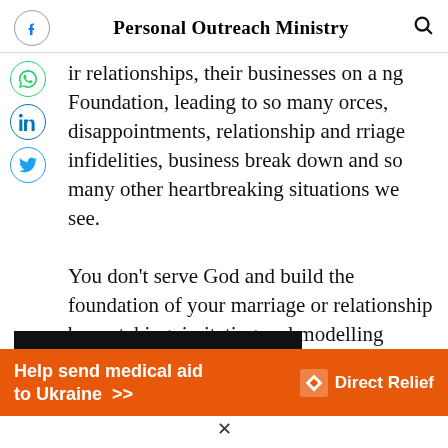Personal Outreach Ministry
ir relationships, their businesses on a ng Foundation, leading to so many orces, disappointments, relationship and rriage infidelities, business break down and so many other heartbreaking situations we see.
You don't serve God and build the foundation of your marriage or relationship by watching, imitating and modelling worldly celebrities.
[Figure (infographic): Orange Direct Relief advertisement banner: 'Help send medical aid to Ukraine >>' with Direct Relief logo on right]